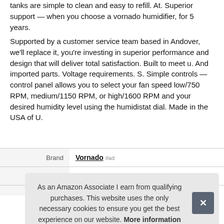tanks are simple to clean and easy to refill. At. Superior support — when you choose a vornado humidifier, for 5 years.
Supported by a customer service team based in Andover, we'll replace it, you're investing in superior performance and design that will deliver total satisfaction. Built to meet u. And imported parts. Voltage requirements. S. Simple controls — control panel allows you to select your fan speed low/750 RPM, medium/1150 RPM, or high/1600 RPM and your desired humidity level using the humidistat dial. Made in the USA of U.
|  |  |
| --- | --- |
| Brand | Vornado #ad |
| Manufacturer | Vornado #ad |
As an Amazon Associate I earn from qualifying purchases. This website uses the only necessary cookies to ensure you get the best experience on our website. More information